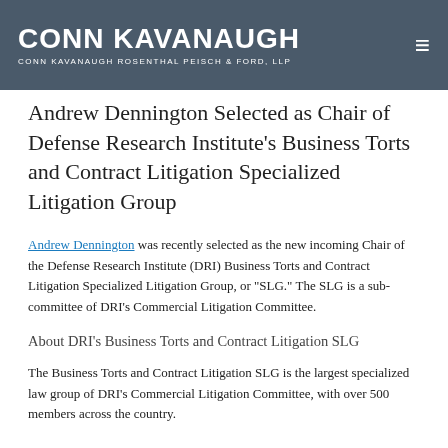Conn Kavanaugh — Conn Kavanaugh Rosenthal Peisch & Ford, LLP
Andrew Dennington Selected as Chair of Defense Research Institute's Business Torts and Contract Litigation Specialized Litigation Group
Andrew Dennington was recently selected as the new incoming Chair of the Defense Research Institute (DRI) Business Torts and Contract Litigation Specialized Litigation Group, or "SLG." The SLG is a sub-committee of DRI's Commercial Litigation Committee.
About DRI's Business Torts and Contract Litigation SLG
The Business Torts and Contract Litigation SLG is the largest specialized law group of DRI's Commercial Litigation Committee, with over 500 members across the country.